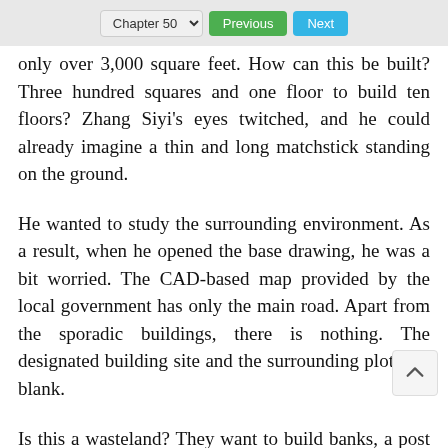Chapter 50  Previous  Next
only over 3,000 square feet. How can this be built? Three hundred squares and one floor to build ten floors? Zhang Siyi's eyes twitched, and he could already imagine a thin and long matchstick standing on the ground.
He wanted to study the surrounding environment. As a result, when he opened the base drawing, he was a bit worried. The CAD-based map provided by the local government has only the main road. Apart from the sporadic buildings, there is nothing. The designated building site and the surrounding plots are blank.
Is this a wasteland? They want to build banks, a post office, and commercial offices on barren land? Are